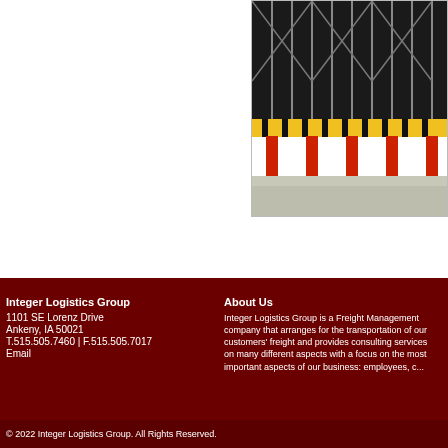[Figure (photo): Warehouse interior showing metal racking with yellow and black safety markers on red supports, concrete floor visible]
Integer Logistics Group
1101 SE Lorenz Drive
Ankeny, IA 50021
T.515.505.7460  |  F.515.505.7017
Email
About Us
Integer Logistics Group is a Freight Management company that arranges for the transportation of our customers' freight and provides consulting services on many different aspects with a focus on the most important aspects of our business: employees, c...
© 2022 Integer Logistics Group. All Rights Reserved.